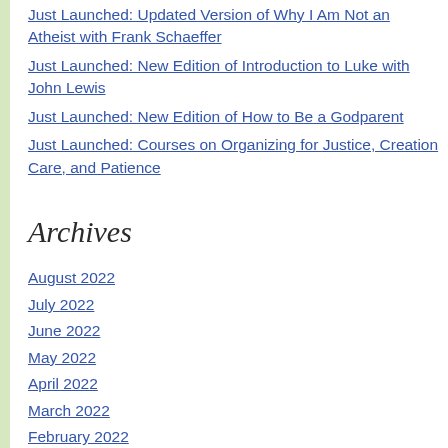Just Launched: Updated Version of Why I Am Not an Atheist with Frank Schaeffer
Just Launched: New Edition of Introduction to Luke with John Lewis
Just Launched: New Edition of How to Be a Godparent
Just Launched: Courses on Organizing for Justice, Creation Care, and Patience
Archives
August 2022
July 2022
June 2022
May 2022
April 2022
March 2022
February 2022